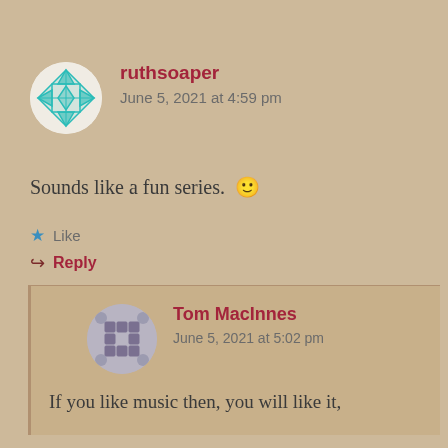ruthsoaper
June 5, 2021 at 4:59 pm
Sounds like a fun series. 🙂
★ Like
↪ Reply
Tom MacInnes
June 5, 2021 at 5:02 pm
If you like music then, you will like it,